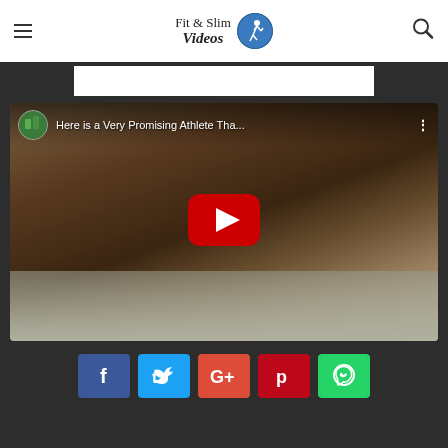Fit & Slim Videos
[Figure (screenshot): White ad banner area on dark background]
[Figure (screenshot): YouTube video thumbnail showing a muscular athlete bending over, with play button overlay and title 'Here is a Very Promising Athlete Tha...']
[Figure (infographic): Social share buttons: Facebook, Twitter, Google+, Pinterest, WhatsApp]